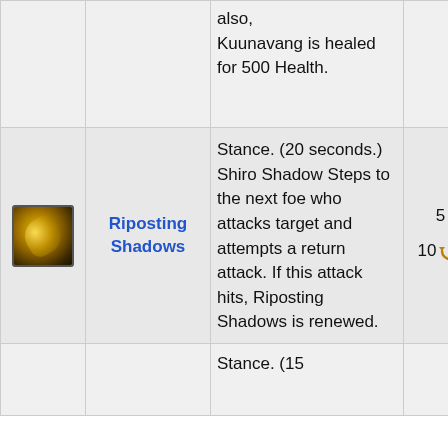| Icon | Name | Description | Stats |
| --- | --- | --- | --- |
| [icon] |  | also, Kuunavang is healed for 500 Health. |  |
| [Riposting Shadows icon] | Riposting Shadows | Stance. (20 seconds.) Shiro Shadow Steps to the next foe who attacks target and attempts a return attack. If this attack hits, Riposting Shadows is renewed. | 5 [energy] 10 [recharge] [assassin] |
| [icon] |  | Stance. (15 |  |